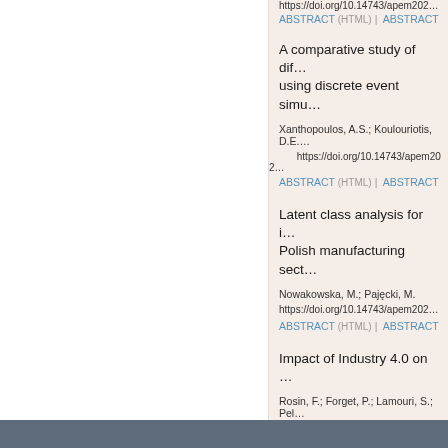https://doi.org/10.14743/apem202...
ABSTRACT (HTML) | ABSTRACT...
A comparative study of dif... using discrete event simu...
Xanthopoulos, A.S.; Koulouriotis, D.E.
https://doi.org/10.14743/apem202...
ABSTRACT (HTML) | ABSTRACT...
Latent class analysis for i... Polish manufacturing sect...
Nowakowska, M.; Pajęcki, M.
https://doi.org/10.14743/apem202...
ABSTRACT (HTML) | ABSTRACT...
Impact of Industry 4.0 on ...
Rosin, F.; Forget, P.; Lamouri, S.; Pel...
https://doi.org/10.14743/apem202...
ABSTRACT (HTML) | ABSTRACT...